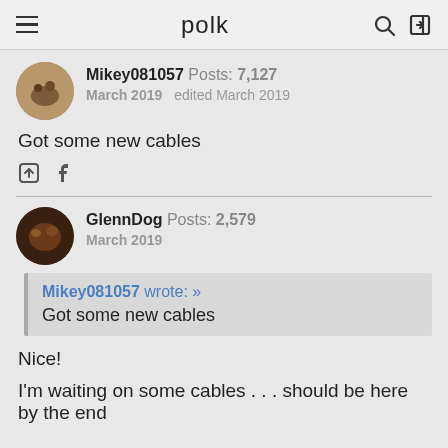polk
Mikey081057  Posts: 7,127
March 2019  edited March 2019
Got some new cables
GlennDog  Posts: 2,579
March 2019
Mikey081057 wrote: »
Got some new cables
Nice!
I'm waiting on some cables . . . should be here by the end